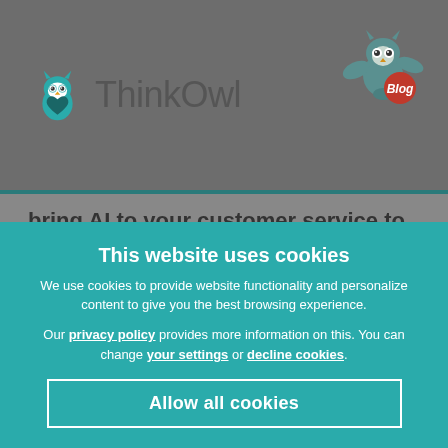[Figure (logo): ThinkOwl logo with teal owl icon and grey ThinkOwl text, plus a flying owl with Blog badge on the right]
bring AI to your customer service to make it 'to the point'. And for this you need a modern customer service tool like ThinkOwl, that too has answers to all these questions. Give it a try now and take your customer experience to the next.
This website uses cookies
We use cookies to provide website functionality and personalize content to give you the best browsing experience.
Our privacy policy provides more information on this. You can change your settings or decline cookies.
Allow all cookies